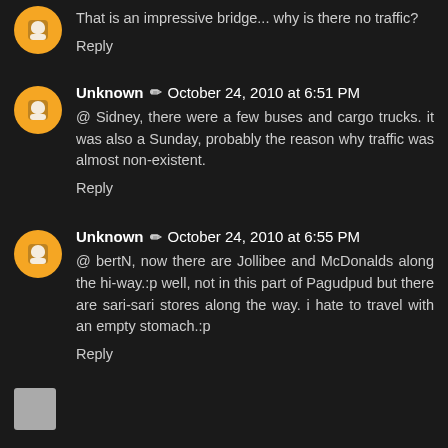That is an impressive bridge... why is there no traffic?
Reply
Unknown ✏ October 24, 2010 at 6:51 PM
@ Sidney, there were a few buses and cargo trucks. it was also a Sunday, probably the reason why traffic was almost non-existent.
Reply
Unknown ✏ October 24, 2010 at 6:55 PM
@ bertN, now there are Jollibee and McDonalds along the hi-way.:p well, not in this part of Pagudpud but there are sari-sari stores along the way. i hate to travel with an empty stomach.:p
Reply